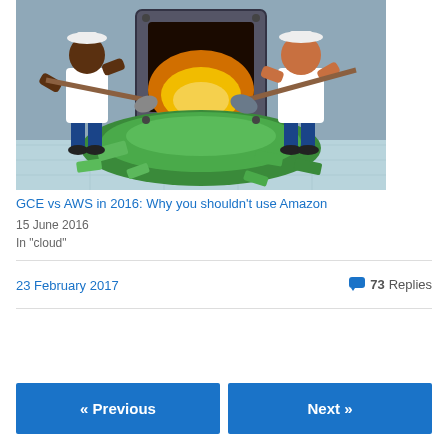[Figure (illustration): Cartoon illustration of two muscular workers in white tank tops and sailor hats shoveling a large pile of green money bills into a furnace/fireplace]
GCE vs AWS in 2016: Why you shouldn't use Amazon
15 June 2016
In "cloud"
23 February 2017
73 Replies
« Previous
Next »